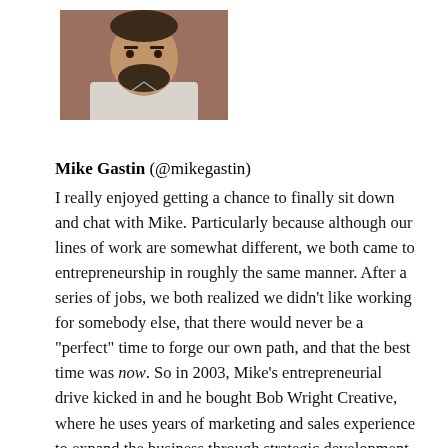[Figure (photo): Headshot photo of Mike Gastin, a man with a beard wearing a light-colored shirt, photographed against a brick wall background.]
Mike Gastin (@mikegastin) I really enjoyed getting a chance to finally sit down and chat with Mike. Particularly because although our lines of work are somewhat different, we both came to entrepreneurship in roughly the same manner. After a series of jobs, we both realized we didn't like working for somebody else, that there would never be a "perfect" time to forge our own path, and that the best time was now. So in 2003, Mike's entrepreneurial drive kicked in and he bought Bob Wright Creative, where he uses years of marketing and sales experience to expand the business through strategic development and to foster a culture of blessing. Check out the packaging design work they did for Wegmans. I love their use of color and texture, particularly on the BBQ sauce bottles. Just